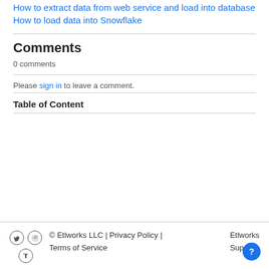How to extract data from web service and load into database
How to load data into Snowflake
Comments
0 comments
Please sign in to leave a comment.
Table of Content
© Etlworks LLC | Privacy Policy | Terms of Service    Etlworks Support